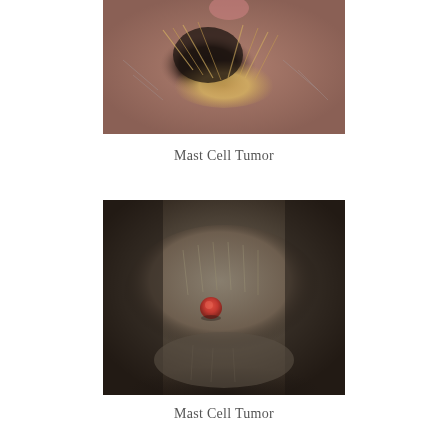[Figure (photo): Close-up photograph of a mast cell tumor on an animal, showing a darkened lesion area surrounded by brown and yellowish fur against a pinkish-gray skin background.]
Mast Cell Tumor
[Figure (photo): Close-up photograph of a mast cell tumor on an animal, showing a small round red raised nodule on gray-brown fur with dark background.]
Mast Cell Tumor